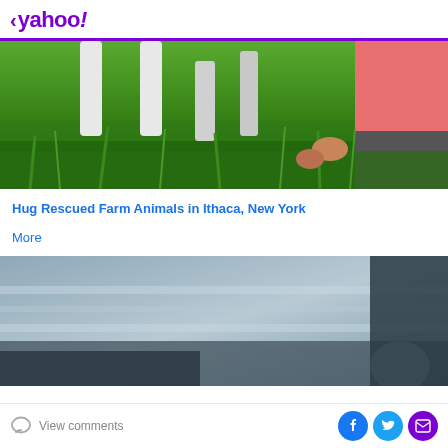< yahoo!
[Figure (photo): Close-up photo of grass with animal legs (white) and a person wearing a pink shirt, sitting or kneeling in green grass]
Hug Rescued Farm Animals in Ithaca, New York
More
[Figure (photo): Blurry outdoor coastal or lakeside photo with grey water/waves in background and dark silhouettes in foreground]
View comments